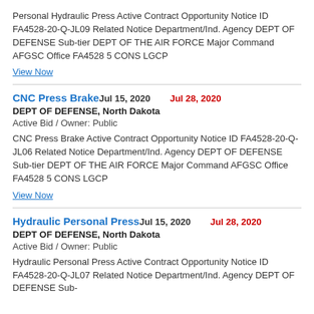Personal Hydraulic Press Active Contract Opportunity Notice ID FA4528-20-Q-JL09 Related Notice Department/Ind. Agency DEPT OF DEFENSE Sub-tier DEPT OF THE AIR FORCE Major Command AFGSC Office FA4528 5 CONS LGCP
View Now
CNC Press Brake
Jul 15, 2020
Jul 28, 2020
DEPT OF DEFENSE, North Dakota
Active Bid / Owner: Public
CNC Press Brake Active Contract Opportunity Notice ID FA4528-20-Q-JL06 Related Notice Department/Ind. Agency DEPT OF DEFENSE Sub-tier DEPT OF THE AIR FORCE Major Command AFGSC Office FA4528 5 CONS LGCP
View Now
Hydraulic Personal Press
Jul 15, 2020
Jul 28, 2020
DEPT OF DEFENSE, North Dakota
Active Bid / Owner: Public
Hydraulic Personal Press Active Contract Opportunity Notice ID FA4528-20-Q-JL07 Related Notice Department/Ind. Agency DEPT OF DEFENSE Sub-